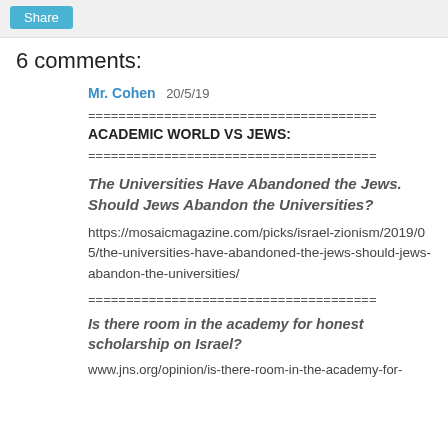[Figure (other): Share button bar at top of page]
6 comments:
Mr. Cohen  20/5/19
======================================
ACADEMIC WORLD VS JEWS:
======================================
The Universities Have Abandoned the Jews. Should Jews Abandon the Universities?
https://mosaicmagazine.com/picks/israel-zionism/2019/05/the-universities-have-abandoned-the-jews-should-jews-abandon-the-universities/
======================================
Is there room in the academy for honest scholarship on Israel?
www.jns.org/opinion/is-there-room-in-the-academy-for-